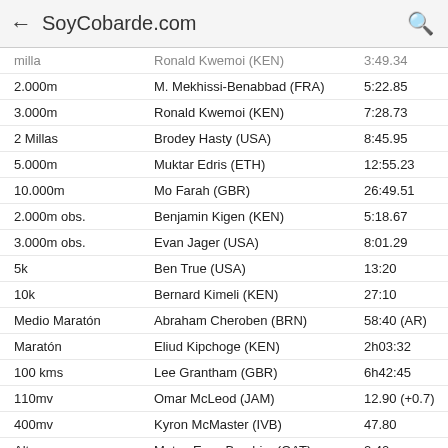SoyCobarde.com
| Evento | Atleta | Marca | Fecha |
| --- | --- | --- | --- |
| milla | Ronald Kwemoi (KEN) | 3:49.34 | 27/ |
| 2.000m | M. Mekhissi-Benabbad (FRA) | 5:22.85 | 09/ |
| 3.000m | Ronald Kwemoi (KEN) | 7:28.73 | 05/ |
| 2 Millas | Brodey Hasty (USA) | 8:45.95 | 17/ |
| 5.000m | Muktar Edris (ETH) | 12:55.23 | 06/ |
| 10.000m | Mo Farah (GBR) | 26:49.51 | 04/ |
| 2.000m obs. | Benjamin Kigen (KEN) | 5:18.67 | 02/ |
| 3.000m obs. | Evan Jager (USA) | 8:01.29 | 21/ |
| 5k | Ben True (USA) | 13:20 | 16/ |
| 10k | Bernard Kimeli (KEN) | 27:10 | 09/ |
| Medio Maratón | Abraham Cheroben (BRN) | 58:40 (AR) | 17/ |
| Maratón | Eliud Kipchoge (KEN) | 2h03:32 | 24/ |
| 100 kms | Lee Grantham (GBR) | 6h42:45 | 21/ |
| 110mv | Omar McLeod (JAM) | 12.90 (+0.7) | 24/ |
| 400mv | Kyron McMaster (IVB) | 47.80 | 20/ |
| Altura | Mutaz Essa Barshim (QAT) | 2.40m | 20/ |
|  |  | 2.40m | 27/ |
| Pértiga | Sam Kendricks (USA) | 6.00m | 24/ |
| Longitud | Luvo Manyonga (RSA) | 8.65m (+1.3) (AR) | 22/ |
| Triple | Christian Taylor (USA) | 18.11m (+0.8) | 27/ |
| Peso | Ryan Crouser (USA) | 22.65m | 25/ |